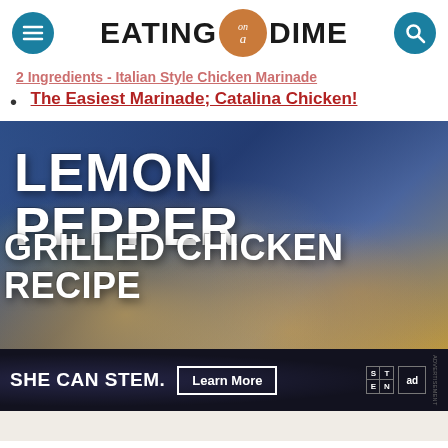EATING on a DIME — website header with navigation
2 Ingredients - Italian Style Marinade (strikethrough/faded link)
The Easiest Marinade; Catalina Chicken!
[Figure (photo): Hero image for Lemon Pepper Grilled Chicken Recipe article. Dark blue/navy background with blurred food (chicken/pizza) in foreground. Large white bold text reads 'LEMON PEPPER' on top line and 'GRILLED CHICKEN RECIPE' on second line.]
[Figure (infographic): Advertisement banner: dark background, white bold text 'SHE CAN STEM.' with a 'Learn More' button outline, STEM grid logo, Ad Council logo, and small vertical text on right edge.]